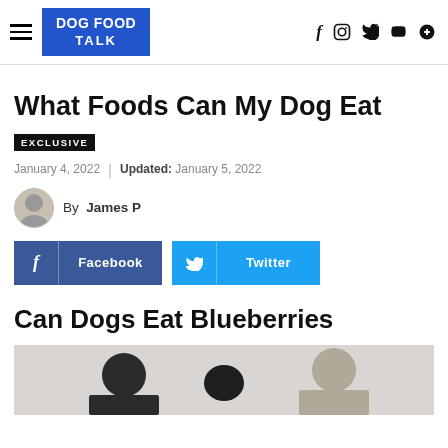DOG FOOD TALK
What Foods Can My Dog Eat
EXCLUSIVE
January 4, 2022 | Updated: January 5, 2022
By James P
[Figure (illustration): Facebook and Twitter share buttons]
Can Dogs Eat Blueberries
[Figure (photo): Article header image with people and dog silhouettes]